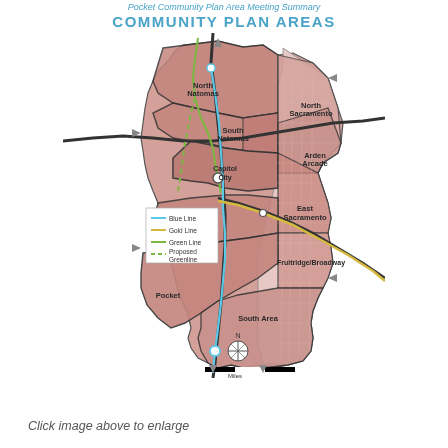Pocket Community Plan Area Meeting Summary
COMMUNITY PLAN AREAS
[Figure (map): Map of Sacramento Community Plan Areas showing neighborhood districts (North Natomas, South Natomas, North Sacramento, Arden Arcade, Capitol City, East Sacramento, Land Park, Fruitridge/Broadway, Pocket, South Area) with transit lines: Blue Line, Gold Line, Green Line, and Proposed Greenline overlaid on a street grid. Map includes compass rose and scale bar.]
Click image above to enlarge